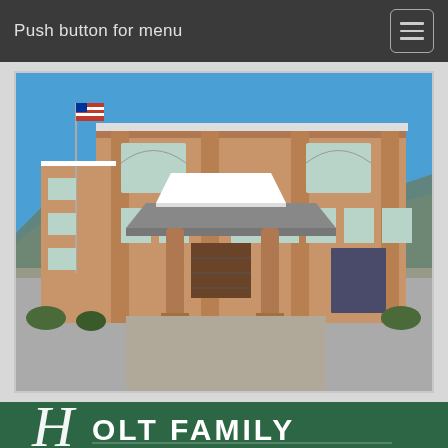Push button for menu
[Figure (photo): Exterior photo of Holt Family Funeral Home building — a two-story terracotta/tan stucco building with a porte-cochère entrance supported by cylindrical columns, arched windows on the upper floor, and a flagpole with American flag. Mountains visible in the background under a clear blue sky.]
HOLT FAMILY FUNERAL HOME